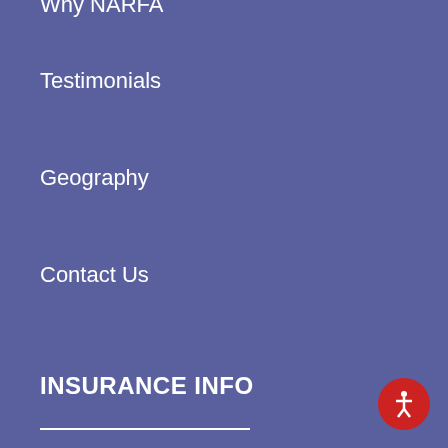Why NARFA
Testimonials
Geography
Contact Us
INSURANCE INFO
Insurance Plans & Benefits
Health Insurance
Dental Insurance
Disability Insurance
Life Insurance